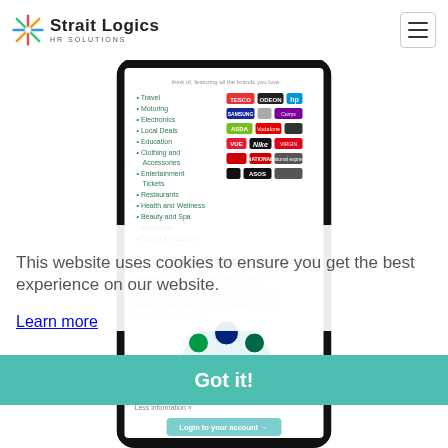[Figure (logo): Strait Logics HR Solutions logo with colorful star/compass icon and company name]
[Figure (screenshot): Mobile phone screenshot showing a discount/benefits app with categories list (Travel, Motoring, Electronics, Local Deals, Education, Clothing and Accessories, Entertainment Tickets, Restaurants, Health and Wellness, Beauty and Spa, Insurance, Sports & Outdoors) alongside brand logos (Tesco, Odeon, HP, Samsung, Apple, Currys, Asda, Vodafone, Barcode store, Vue, Nike, Virgin, various others, ASOS). Below: 'Access benefits all around the world' section with globe/flags illustration, world text, Less Information link, and Login to your account button.]
This website uses cookies to ensure you get the best experience on our website.
Learn more
Got it!